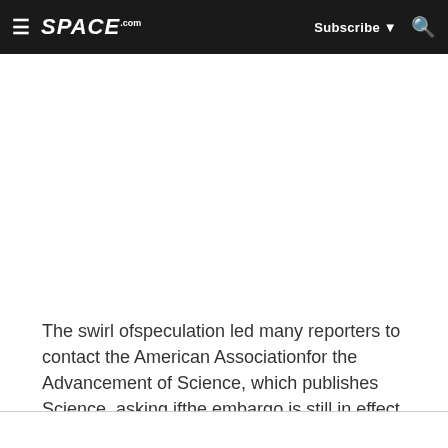≡ SPACE.com  Subscribe ▼ 🔍
The swirl ofspeculation led many reporters to contact the American Associationfor the Advancement of Science, which publishes Science, asking ifthe embargo is still in effect.